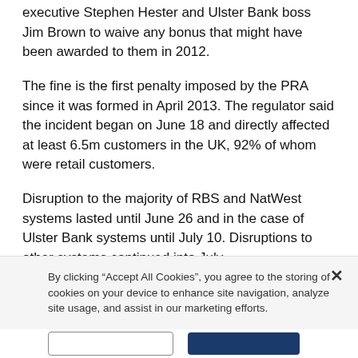executive Stephen Hester and Ulster Bank boss Jim Brown to waive any bonus that might have been awarded to them in 2012.
The fine is the first penalty imposed by the PRA since it was formed in April 2013. The regulator said the incident began on June 18 and directly affected at least 6.5m customers in the UK, 92% of whom were retail customers.
Disruption to the majority of RBS and NatWest systems lasted until June 26 and in the case of Ulster Bank systems until July 10. Disruptions to other systems continued into July.
The regulator said the IT incident could have
By clicking “Accept All Cookies”, you agree to the storing of cookies on your device to enhance site navigation, analyze site usage, and assist in our marketing efforts.